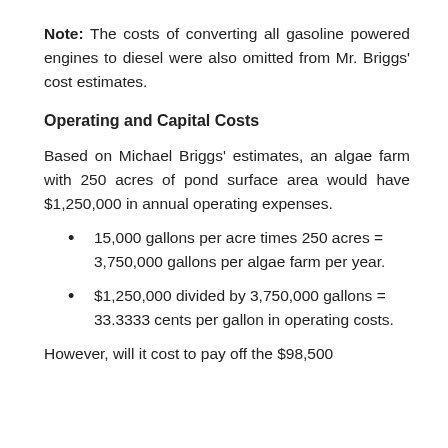Note: The costs of converting all gasoline powered engines to diesel were also omitted from Mr. Briggs' cost estimates.
Operating and Capital Costs
Based on Michael Briggs' estimates, an algae farm with 250 acres of pond surface area would have $1,250,000 in annual operating expenses.
15,000 gallons per acre times 250 acres = 3,750,000 gallons per algae farm per year.
$1,250,000 divided by 3,750,000 gallons = 33.3333 cents per gallon in operating costs.
However, will it cost to pay off the $98,500...